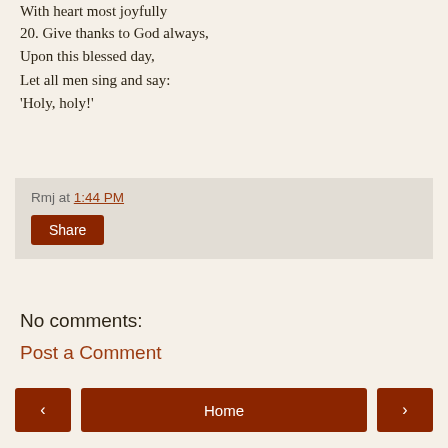With heart most joyfully
20. Give thanks to God always,
Upon this blessed day,
Let all men sing and say:
'Holy, holy!'
Rmj at 1:44 PM
Share
No comments:
Post a Comment
‹  Home  ›
View web version
Powered by Blogger.